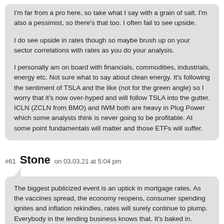I'm far from a pro here, so take what I say with a grain of salt. I'm also a pessimist, so there's that too. I often fail to see upside.

I do see upside in rates though so maybe brush up on your sector correlations with rates as you do your analysis.

I personally am on board with financials, commodities, industrials, energy etc. Not sure what to say about clean energy. It's following the sentiment of TSLA and the like (not for the green angle) so I worry that it's now over-hyped and will follow TSLA into the gutter. ICLN (ZCLN from BMO) and IWM both are heavy in Plug Power which some analysts think is never going to be profitable. At some point fundamentals will matter and those ETFs will suffer.
#61 Stone on 03.03.21 at 5:04 pm
The biggest publicized event is an uptick in mortgage rates. As the vaccines spread, the economy reopens, consumer spending ignites and inflation rekindles, rates will surely continue to plump. Everybody in the lending business knows that. It's baked in.